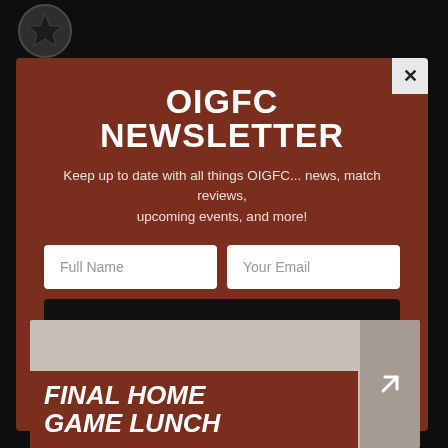[Figure (logo): Old Ivanhoe Grammarians Football Club logo/crest, circular badge]
Old Ivanhoe Grammarians Football Club
Chelsworth Park, Irvine Rd, Ivanhoe VIC 3079
OIGFC NEWSLETTER
Keep up to date with all things OIGFC... news, match reviews, upcoming events, and more!
Full Name
Your Email
SIGN UP
We respect your privacy. You can opt-out at any stage. Go Hoes!
FINAL HOME GAME LUNCH